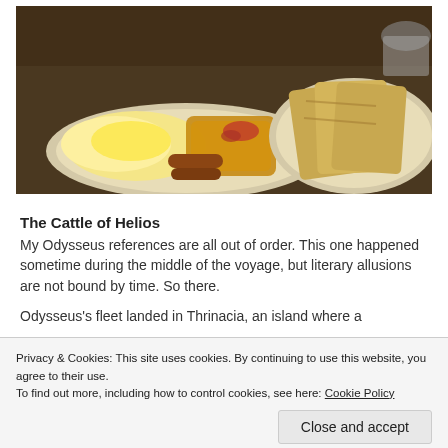[Figure (photo): A plate of scrambled eggs with sausages and jam on the left, and two pieces of toast on a separate plate on the right, on a dark table surface.]
The Cattle of Helios
My Odysseus references are all out of order. This one happened sometime during the middle of the voyage, but literary allusions are not bound by time. So there.
Odysseus's fleet landed in Thrinacia, an island where a
Privacy & Cookies: This site uses cookies. By continuing to use this website, you agree to their use.
To find out more, including how to control cookies, see here: Cookie Policy
Close and accept